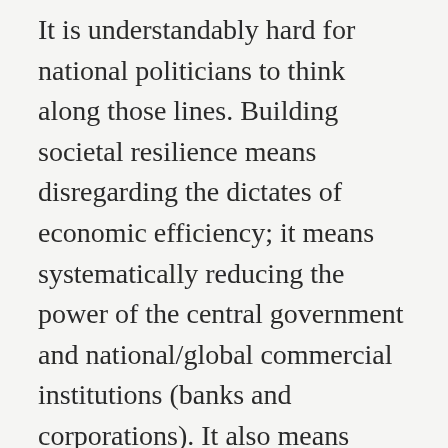It is understandably hard for national politicians to think along those lines. Building societal resilience means disregarding the dictates of economic efficiency; it means systematically reducing the power of the central government and national/global commercial institutions (banks and corporations). It also means questioning the central dogma of our modern world: the efficacy and possibility of unending economic growth.
So if the best outcome lies in a strategy of resilience and re-localization, and our national leaders can't even contemplate such